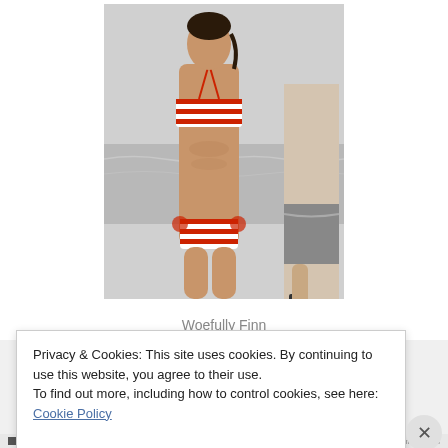[Figure (photo): A woman in a red and white striped bikini standing near water at a beach. A man is partially visible on the right side.]
Woefully Finn
Privacy & Cookies: This site uses cookies. By continuing to use this website, you agree to their use.
To find out more, including how to control cookies, see here: Cookie Policy